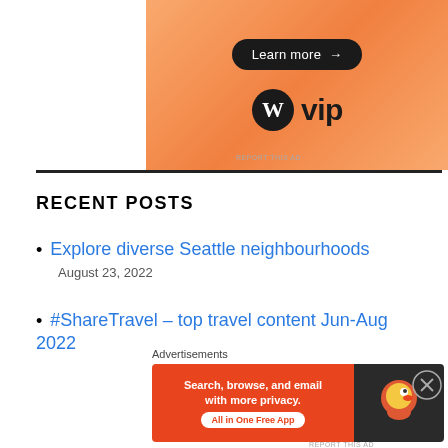[Figure (illustration): WordPress VIP advertisement with orange gradient background. Shows 'Learn more →' button in black pill shape and WordPress W logo with 'vip' text below.]
RECENT POSTS
Explore diverse Seattle neighbourhoods
August 23, 2022
#ShareTravel – top travel content Jun-Aug 2022
[Figure (screenshot): DuckDuckGo advertisement banner with orange background. Text: 'Search, browse, and email with more privacy. All in One Free App'. DuckDuckGo duck logo on right side against dark background.]